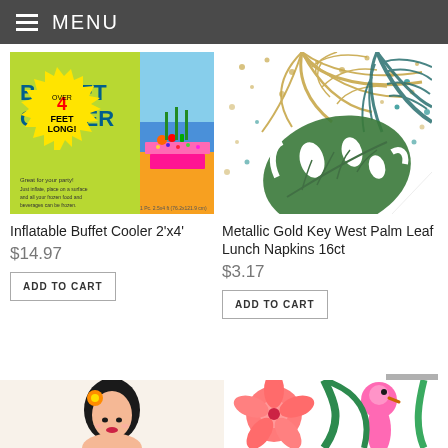MENU
[Figure (photo): Inflatable Buffet Cooler product image - colorful ad showing green background with 'BUFFET COOLER' text and 'OVER 4 FEET LONG!' starburst, beach party scene with pink cooler]
Inflatable Buffet Cooler 2'x4'
$14.97
ADD TO CART
[Figure (photo): Metallic Gold Key West Palm Leaf Lunch Napkins product image - white napkin with gold and teal/green tropical palm leaf design with gold dots]
Metallic Gold Key West Palm Leaf Lunch Napkins 16ct
$3.17
ADD TO CART
[Figure (photo): Partial bottom-left product image showing a cartoon hula girl with black hair and flower]
[Figure (photo): Partial bottom-right product image showing flamingo and tropical floral pattern in pink, coral and green]